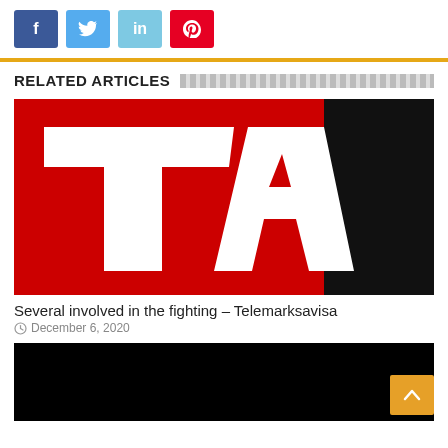[Figure (other): Social media share buttons: Facebook (blue), Twitter (light blue), LinkedIn (light blue), Pinterest (red)]
RELATED ARTICLES
[Figure (logo): TA (Telemarksavisa) logo — white bold italic letters TA on red background with black rectangle on right]
Several involved in the fighting – Telemarksavisa
December 6, 2020
[Figure (photo): Black image (second article thumbnail)]